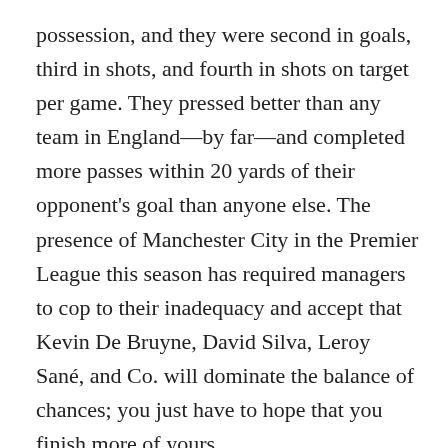possession, and they were second in goals, third in shots, and fourth in shots on target per game. They pressed better than any team in England—by far—and completed more passes within 20 yards of their opponent's goal than anyone else. The presence of Manchester City in the Premier League this season has required managers to cop to their inadequacy and accept that Kevin De Bruyne, David Silva, Leroy Sané, and Co. will dominate the balance of chances; you just have to hope that you finish more of yours.